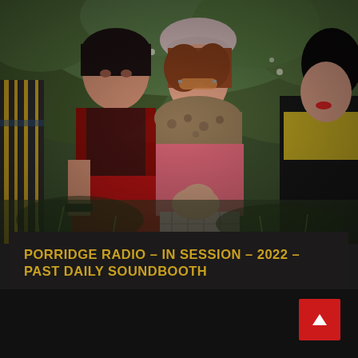[Figure (photo): Three young women sitting outdoors among green foliage and wildflowers. Left woman wears a red mesh top and red trousers with short dark hair. Center woman wears a pink sweater, patterned scarf, pink beret, and plaid trousers. Right woman partially visible wearing dark jacket and yellow top.]
PORRIDGE RADIO – IN SESSION – 2022 – PAST DAILY SOUNDBOOTH
BY GORDONSKENE    2 DAYS AGO